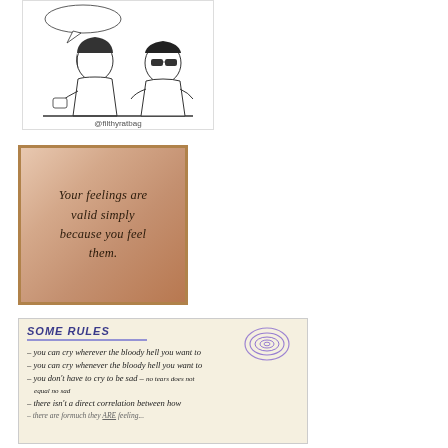[Figure (illustration): Comic strip illustration showing two people sitting across from each other. One person appears to be talking (speech bubble visible) and the other has sunglasses. Attribution text '@filthyratbag' at the bottom.]
[Figure (photo): Image with warm brownish-pink mottled background texture with text overlay reading: 'Your feelings are valid simply because you feel them.' in italic serif font.]
[Figure (illustration): Handwritten notes on cream/beige paper titled 'SOME RULES' in bold italic with blue underline. Purple spiral/galaxy doodle in top right. Rules listed: '- you can cry wherever the bloody hell you want to', '- you can cry whenever the bloody hell you want to', '- you don't have to cry to be sad - no tears does not equal no sad', '- there isn't a direct correlation between how [cut off]'.]